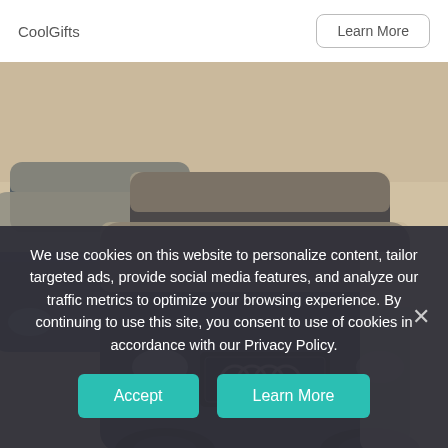CoolGifts
Learn More
[Figure (photo): Several dusty/dirty luxury SUVs and cars (including an Audi Q7) parked inside what appears to be a storage facility or warehouse, all covered in a thick layer of dust or sand.]
We use cookies on this website to personalize content, tailor targeted ads, provide social media features, and analyze our traffic metrics to optimize your browsing experience. By continuing to use this site, you consent to use of cookies in accordance with our Privacy Policy.
Accept
Learn More